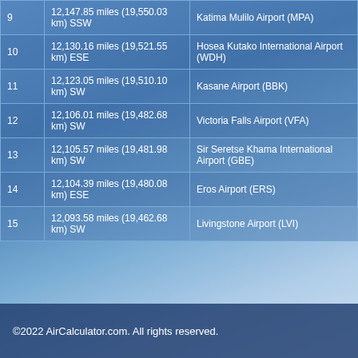| # | Distance | Airport |
| --- | --- | --- |
| 9 | 12,147.85 miles (19,550.03 km) SSW | Katima Mulilo Airport (MPA) |
| 10 | 12,130.16 miles (19,521.55 km) ESE | Hosea Kutako International Airport (WDH) |
| 11 | 12,123.05 miles (19,510.10 km) SW | Kasane Airport (BBK) |
| 12 | 12,106.01 miles (19,482.68 km) SW | Victoria Falls Airport (VFA) |
| 13 | 12,105.57 miles (19,481.98 km) SW | Sir Seretse Khama International Airport (GBE) |
| 14 | 12,104.39 miles (19,480.08 km) ESE | Eros Airport (ERS) |
| 15 | 12,093.58 miles (19,462.68 km) SW | Livingstone Airport (LVI) |
©2022 AirCalculator.com. All rights reserved.